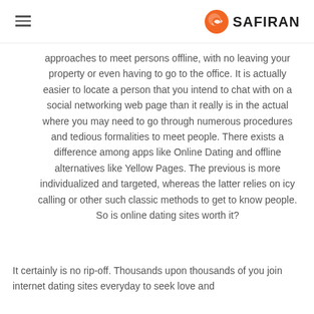SAFIRAN
approaches to meet persons offline, with no leaving your property or even having to go to the office. It is actually easier to locate a person that you intend to chat with on a social networking web page than it really is in the actual where you may need to go through numerous procedures and tedious formalities to meet people. There exists a difference among apps like Online Dating and offline alternatives like Yellow Pages. The previous is more individualized and targeted, whereas the latter relies on icy calling or other such classic methods to get to know people. So is online dating sites worth it?
It certainly is no rip-off. Thousands upon thousands of you join internet dating sites everyday to seek love and